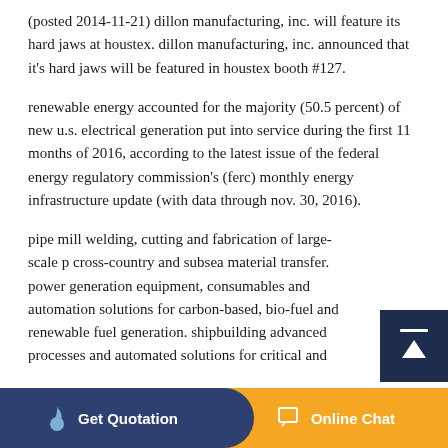(posted 2014-11-21) dillon manufacturing, inc. will feature its hard jaws at houstex. dillon manufacturing, inc. announced that it's hard jaws will be featured in houstex booth #127.
renewable energy accounted for the majority (50.5 percent) of new u.s. electrical generation put into service during the first 11 months of 2016, according to the latest issue of the federal energy regulatory commission's (ferc) monthly energy infrastructure update (with data through nov. 30, 2016).
pipe mill welding, cutting and fabrication of large-scale p... cross-country and subsea material transfer. power generation equipment, consumables and automation solutions for carbon-based, bio-fuel and renewable fuel generation. shipbuilding advanced processes and automated solutions for critical and
Get Quotation    Online Chat